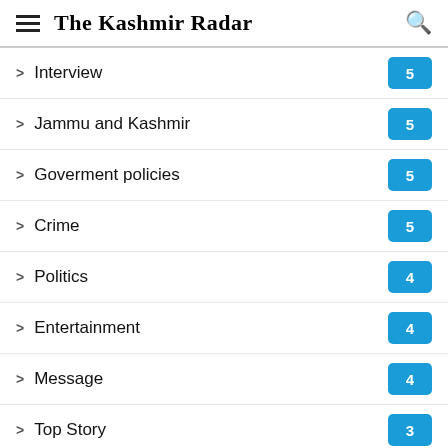The Kashmir Radar
Interview 5
Jammu and Kashmir 5
Goverment policies 5
Crime 5
Politics 4
Entertainment 4
Message 4
Top Story 3
Lifestyle 5
Food 3
Fashion ^
Travel 1
Culture 2